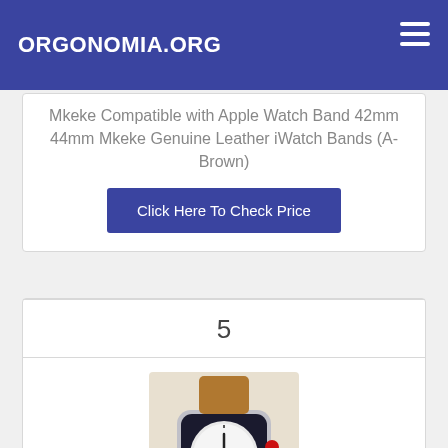ORGONOMIA.ORG
Mkeke Compatible with Apple Watch Band 42mm 44mm Mkeke Genuine Leather iWatch Bands (A-Brown)
Click Here To Check Price
5
[Figure (photo): Apple Watch with brown genuine leather band on a light background]